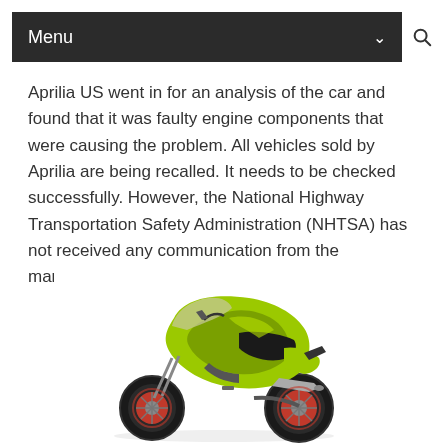Menu
Aprilia US went in for an analysis of the car and found that it was faulty engine components that were causing the problem. All vehicles sold by Aprilia are being recalled. It needs to be checked successfully. However, the National Highway Transportation Safety Administration (NHTSA) has not received any communication from the manufacturer at the moment.
[Figure (photo): A yellow-green Aprilia sport motorcycle with red wheels photographed on a white background, shown from a rear three-quarter angle.]